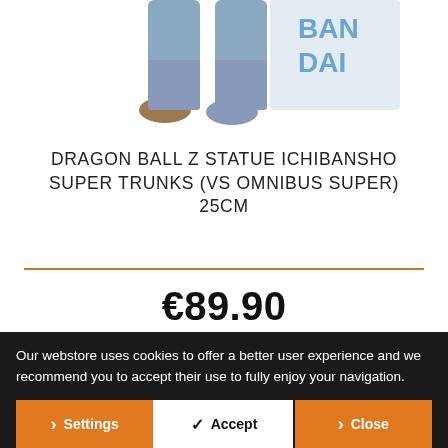[Figure (photo): Partial view of Dragon Ball Z Trunks figure legs and feet, with a Bandai logo visible in the background]
DRAGON BALL Z STATUE ICHIBANSHO SUPER TRUNKS (VS OMNIBUS SUPER) 25CM
€89.90
VIEW PRODUCT
Our webstore uses cookies to offer a better user experience and we recommend you to accept their use to fully enjoy your navigation.
Settings
Accept
Close